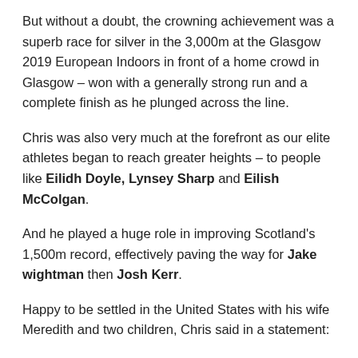But without a doubt, the crowning achievement was a superb race for silver in the 3,000m at the Glasgow 2019 European Indoors in front of a home crowd in Glasgow – won with a generally strong run and a complete finish as he plunged across the line.
Chris was also very much at the forefront as our elite athletes began to reach greater heights – to people like Eilidh Doyle, Lynsey Sharp and Eilish McColgan.
And he played a huge role in improving Scotland's 1,500m record, effectively paving the way for Jake wightman then Josh Kerr.
Happy to be settled in the United States with his wife Meredith and two children, Chris said in a statement:
“Retirement is never an easy decision for an athlete to make, but I'm relieved to say that while I will miss everything about training and running, I'm happy to be a retired athlete.” did he declare